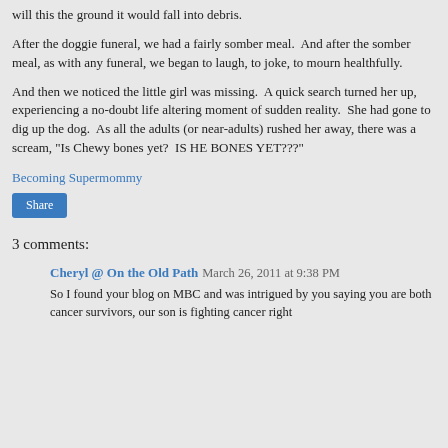will this the ground it would fall into debris.
After the doggie funeral, we had a fairly somber meal.  And after the somber meal, as with any funeral, we began to laugh, to joke, to mourn healthfully.
And then we noticed the little girl was missing.  A quick search turned her up, experiencing a no-doubt life altering moment of sudden reality.  She had gone to dig up the dog.  As all the adults (or near-adults) rushed her away, there was a scream, "Is Chewy bones yet?  IS HE BONES YET???"
Becoming Supermommy
Share
3 comments:
Cheryl @ On the Old Path  March 26, 2011 at 9:38 PM
So I found your blog on MBC and was intrigued by you saying you are both cancer survivors, our son is fighting cancer right